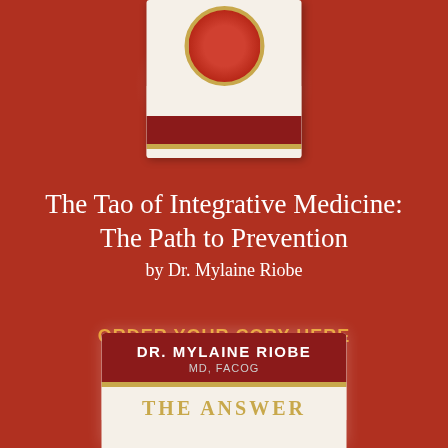[Figure (illustration): Top portion of a book cover with a red circular emblem and dark red/gold stripe at the bottom, partially cropped, with a glowing white halo effect on the dark red background]
The Tao of Integrative Medicine: The Path to Prevention by Dr. Mylaine Riobe
ORDER YOUR COPY HERE
[Figure (illustration): Bottom portion of another book cover showing author name 'DR. MYLAINE RIOBE MD, FACOG' on a dark red banner with gold stripe, and 'THE ANSWER' text below in gold on white background, partially cropped]